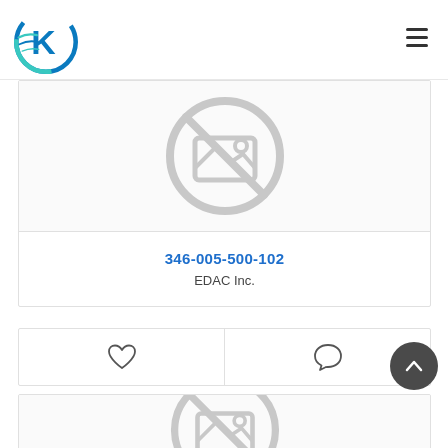[Figure (logo): K3 circular logo with teal/blue gradient, letter K with speed lines inside a circle]
[Figure (illustration): No-image placeholder icon (grey circle with a diagonal slash through a mountain/image icon)]
346-005-500-102
EDAC Inc.
[Figure (illustration): Heart (like/favorite) icon outline]
[Figure (illustration): Speech bubble (comment) icon outline]
[Figure (illustration): Scroll-to-top chevron arrow button (dark circle with upward chevron)]
[Figure (illustration): Second product no-image placeholder icon (partial, cropped at bottom of page)]